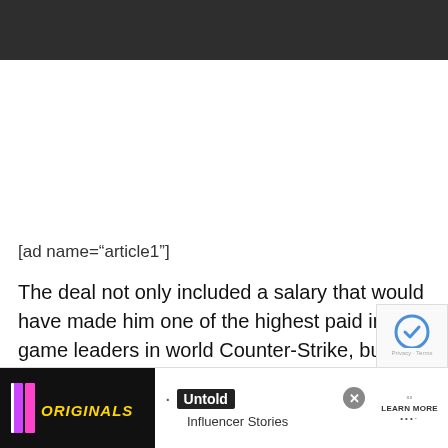[Figure (other): Dark navigation/header bar at top of webpage]
[ad name="article1"]
The deal not only included a salary that would have made him one of the highest paid in-game leaders in world Counter-Strike, but also housing in a luxury apartment.
Virola
[Figure (screenshot): Advertisement banner at bottom: Originals logo on dark background, bullet point, Untold Influencer Stories text, Learn More button with dots, close X button]